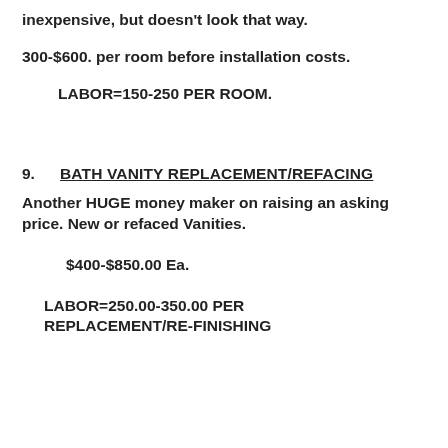inexpensive, but doesn't look that way.
300-$600. per room before installation costs.
LABOR=150-250 PER ROOM.
9.     BATH VANITY REPLACEMENT/REFACING
Another HUGE money maker on raising an asking price. New or refaced Vanities.
$400-$850.00 Ea.
LABOR=250.00-350.00 PER REPLACEMENT/RE-FINISHING